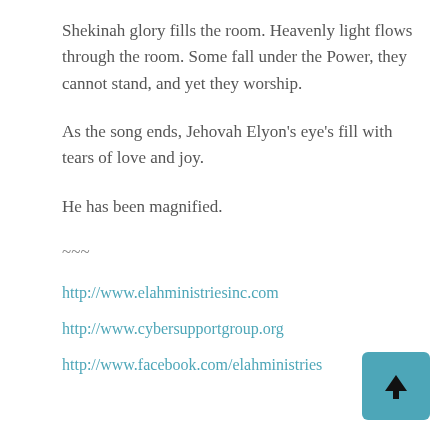Shekinah glory fills the room. Heavenly light flows through the room. Some fall under the Power, they cannot stand, and yet they worship.
As the song ends, Jehovah Elyon’s eye’s fill with tears of love and joy.
He has been magnified.
~~~
http://www.elahministriesinc.com
http://www.cybersupportgroup.org
http://www.facebook.com/elahministries